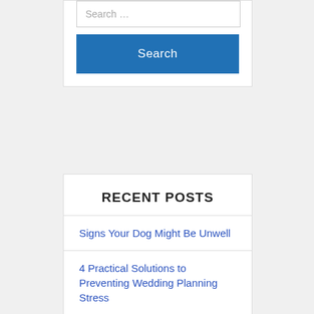[Figure (screenshot): Search widget with input field showing 'Search...' placeholder and a blue Search button]
RECENT POSTS
Signs Your Dog Might Be Unwell
4 Practical Solutions to Preventing Wedding Planning Stress
Wonderful Places To Take The Kids For A Fantastic Trip
Top Tips For Finding Your Dream Home
Top Tips to Help You Relax More and Improve Your Life